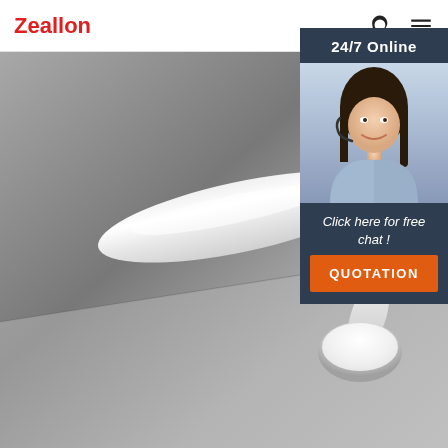Zeallon
[Figure (photo): Product photo of a white elongated door handle lever on a grey background]
24/7 Online
[Figure (photo): Customer service representative woman with headset smiling]
Click here for free chat !
QUOTATION